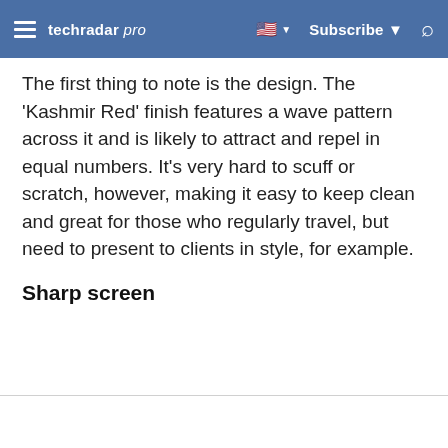techradar pro | Subscribe
The first thing to note is the design. The 'Kashmir Red' finish features a wave pattern across it and is likely to attract and repel in equal numbers. It's very hard to scuff or scratch, however, making it easy to keep clean and great for those who regularly travel, but need to present to clients in style, for example.
Sharp screen